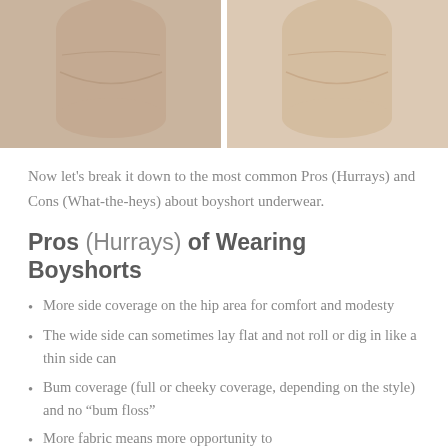[Figure (photo): Two side-by-side back-view photos of a person wearing nude-colored boyshort underwear, showing hip and rear coverage.]
Now let's break it down to the most common Pros (Hurrays) and Cons (What-the-heys) about boyshort underwear.
Pros (Hurrays) of Wearing Boyshorts
More side coverage on the hip area for comfort and modesty
The wide side can sometimes lay flat and not roll or dig in like a thin side can
Bum coverage (full or cheeky coverage, depending on the style) and no “bum floss”
More fabric means more opportunity to